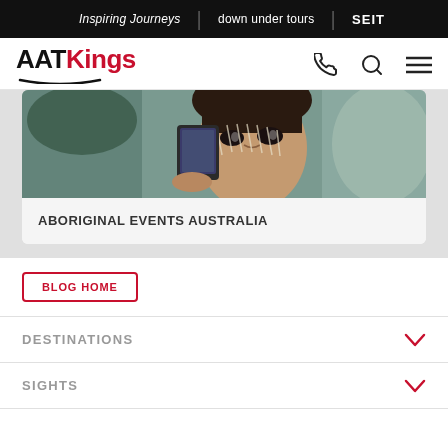Inspiring Journeys | down under tours | SEIT
[Figure (logo): AATKings logo with red 'Kings' text and swoosh underline]
[Figure (photo): Close-up photo of an Aboriginal person holding a phone, with traditional face paint]
ABORIGINAL EVENTS AUSTRALIA
BLOG HOME
DESTINATIONS
SIGHTS